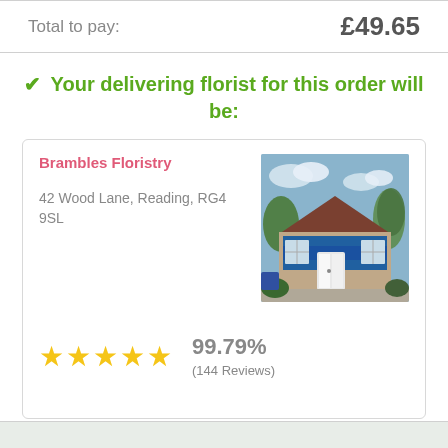Total to pay: £49.65
✔ Your delivering florist for this order will be:
Brambles Floristry
42 Wood Lane, Reading, RG4 9SL
[Figure (photo): Exterior photo of Brambles Floristry shop, a brick building with blue signage and white door]
★★★★★ 99.79% (144 Reviews)